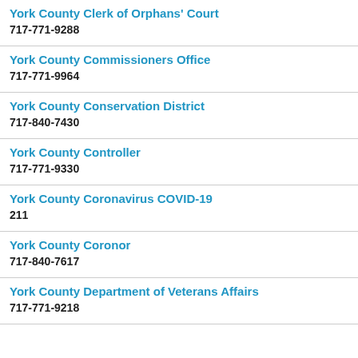York County Clerk of Orphans' Court
717-771-9288
York County Commissioners Office
717-771-9964
York County Conservation District
717-840-7430
York County Controller
717-771-9330
York County Coronavirus COVID-19
211
York County Coronor
717-840-7617
York County Department of Veterans Affairs
717-771-9218